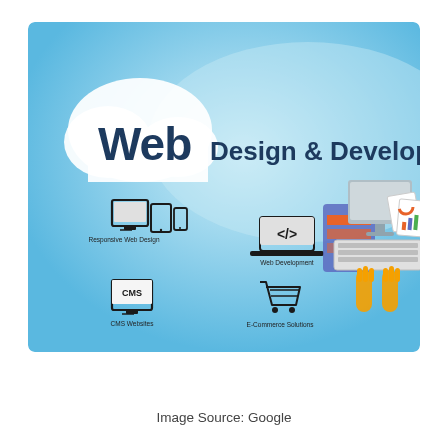[Figure (illustration): Web Design & Development infographic on a light blue gradient background. A white cloud on the left contains the word 'Web' in large dark blue letters. To the right reads 'Design & Development' in large dark blue text. Below are four icons with labels: Responsive Web Design (multi-device icons), Web Development (code brackets on a laptop), CMS Websites (monitor with CMS text), E-Commerce Solutions (shopping cart icon). On the right side, hands typing on a keyboard with a tablet and analytics documents visible.]
Image Source: Google